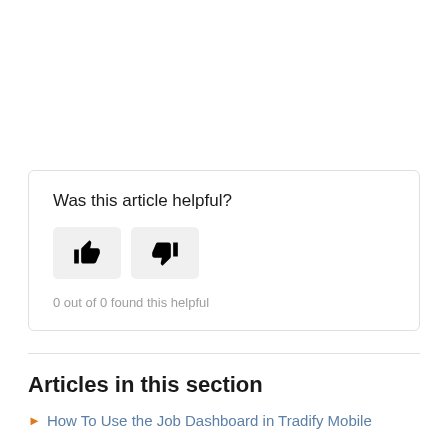Was this article helpful?
[Figure (other): Two vote buttons: thumbs up and thumbs down]
0 out of 0 found this helpful
Articles in this section
How To Use the Job Dashboard in Tradify Mobile